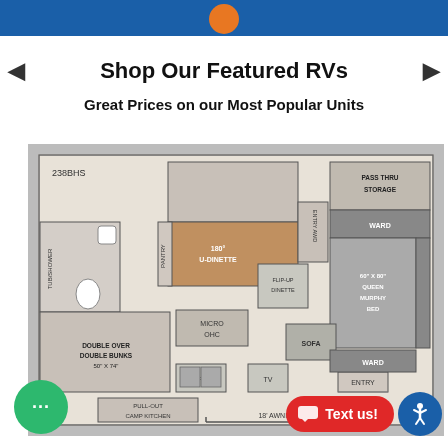Shop Our Featured RVs
Great Prices on our Most Popular Units
[Figure (engineering-diagram): RV floor plan diagram labeled 238BHS showing layout including: TUB/SHOWER, PANTRY, 180° U-DINETTE, PASS THRU STORAGE, WARD (wardrobe), FLIP-UP DINETTE, MICRO OHC, SOFA, 60 x 80 QUEEN MURPHY BED, WARD, DOUBLE OVER DOUBLE BUNKS 50 x 74, REFER, TV, ENTRY, PULL-OUT CAMP KITCHEN, 18' AWNING]
Text us!